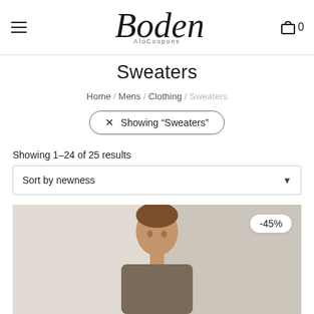[Figure (logo): Boden logo with cursive script and 'AloCoupons' subtitle below]
Sweaters
Home / Mens / Clothing / Sweaters
× Showing "Sweaters"
Showing 1–24 of 25 results
Sort by newness
[Figure (photo): Man wearing a sweater, product photo with -45% discount badge]